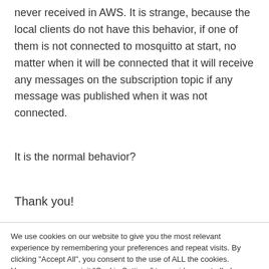never received in AWS. It is strange, because the local clients do not have this behavior, if one of them is not connected to mosquitto at start, no matter when it will be connected that it will receive any messages on the subscription topic if any message was published when it was not connected.
It is the normal behavior?
Thank you!
We use cookies on our website to give you the most relevant experience by remembering your preferences and repeat visits. By clicking "Accept All", you consent to the use of ALL the cookies. However, you may visit "Cookie Settings" to provide a controlled consent.